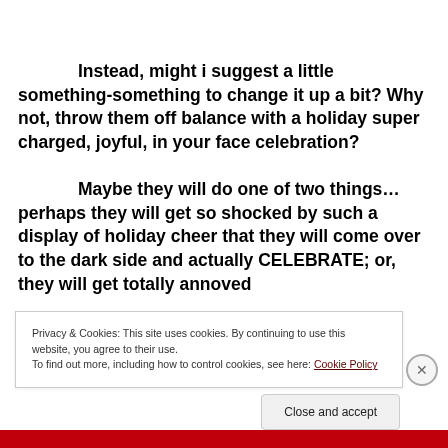Instead, might i suggest a little something-something to change it up a bit?  Why not, throw them off balance with a holiday super charged, joyful, in your face celebration?  Maybe they will do one of two things…perhaps they will get so shocked by such a display of holiday cheer that they will come over to the dark side and actually CELEBRATE; or, they will get totally annoyed
Privacy & Cookies: This site uses cookies. By continuing to use this website, you agree to their use. To find out more, including how to control cookies, see here: Cookie Policy
Close and accept